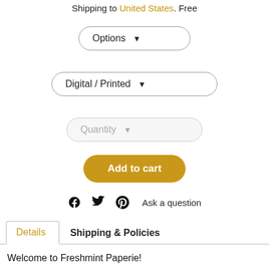Shipping to United States. Free
[Figure (screenshot): Dropdown button labeled 'Options' with a downward arrow]
[Figure (screenshot): Dropdown button labeled 'Digital / Printed' with a downward arrow]
[Figure (screenshot): Dropdown button labeled 'Quantity' (grayed out) with a downward arrow]
[Figure (screenshot): Yellow/gold 'Add to cart' button]
Ask a question
Details  Shipping & Policies
Welcome to Freshmint Paperie!